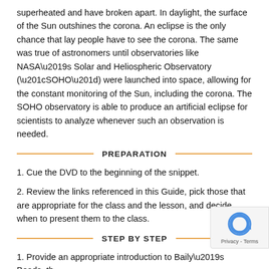superheated and have broken apart. In daylight, the surface of the Sun outshines the corona. An eclipse is the only chance that lay people have to see the corona. The same was true of astronomers until observatories like NASA’s Solar and Heliospheric Observatory (“SOHO”) were launched into space, allowing for the constant monitoring of the Sun, including the corona. The SOHO observatory is able to produce an artificial eclipse for scientists to analyze whenever such an observation is needed.
PREPARATION
1. Cue the DVD to the beginning of the snippet.
2. Review the links referenced in this Guide, pick those that are appropriate for the class and the lesson, and decide when to present them to the class.
STEP BY STEP
1. Provide an appropriate introduction to Baily’s Beads, the Diamond Ring Effect and the corona of the Sun. See Helpful